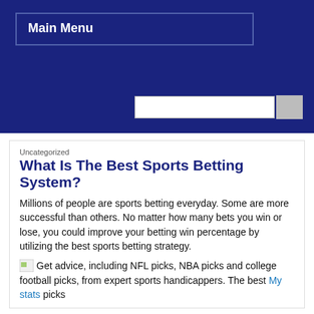Main Menu
Uncategorized
What Is The Best Sports Betting System?
Millions of people are sports betting everyday. Some are more successful than others. No matter how many bets you win or lose, you could improve your betting win percentage by utilizing the best sports betting strategy.
Get advice, including NFL picks, NBA picks and college football picks, from expert sports handicappers. The best My stats picks